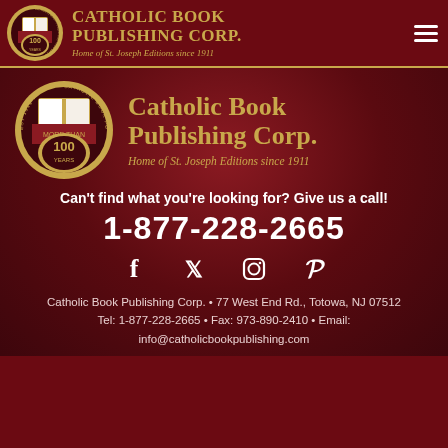CATHOLIC BOOK PUBLISHING CORP. Home of St. Joseph Editions since 1911
[Figure (logo): Catholic Book Publishing Corp. circular logo with book and 100 years badge - header version]
[Figure (logo): Catholic Book Publishing Corp. circular logo with book and 100 years badge - main version]
Catholic Book Publishing Corp. Home of St. Joseph Editions since 1911
Can't find what you're looking for? Give us a call!
1-877-228-2665
[Figure (infographic): Social media icons: Facebook, Twitter, Instagram, Pinterest]
Catholic Book Publishing Corp. • 77 West End Rd., Totowa, NJ 07512
Tel: 1-877-228-2665 • Fax: 973-890-2410 • Email: info@catholicbookpublishing.com